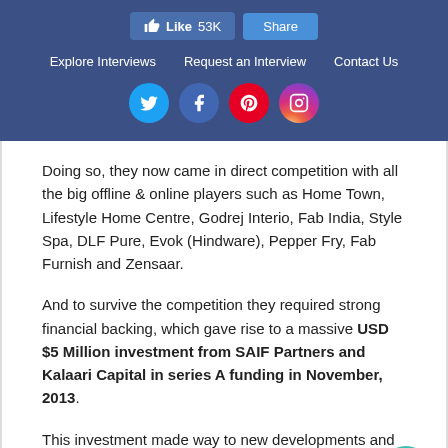Like 53K  Share  |  Explore Interviews  Request an Interview  Contact Us
Doing so, they now came in direct competition with all the big offline & online players such as Home Town, Lifestyle Home Centre, Godrej Interio, Fab India, Style Spa, DLF Pure, Evok (Hindware), Pepper Fry, Fab Furnish and Zensaar.
And to survive the competition they required strong financial backing, which gave rise to a massive USD $5 Million investment from SAIF Partners and Kalaari Capital in series A funding in November, 2013.
This investment made way to new developments and they increased their reach to Chennai & Pune as well.